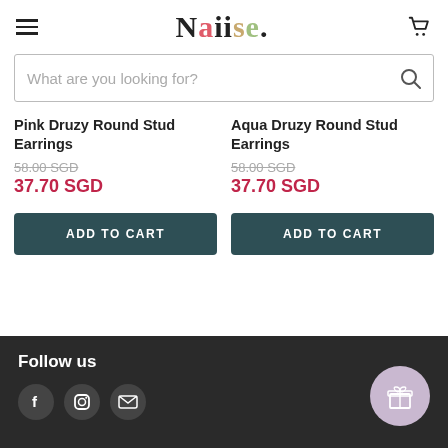Naiise.
What are you looking for?
Pink Druzy Round Stud Earrings
58.00 SGD
37.70 SGD
Aqua Druzy Round Stud Earrings
58.00 SGD
37.70 SGD
ADD TO CART
ADD TO CART
Follow us